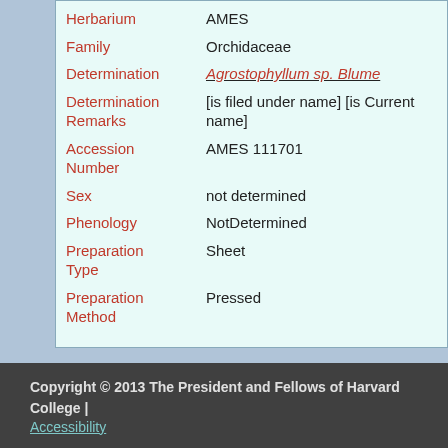Herbarium   AMES
Family   Orchidaceae
Determination   Agrostophyllum sp. Blume
Determination Remarks   [is filed under name] [is Current name]
Accession Number   AMES 111701
Sex   not determined
Phenology   NotDetermined
Preparation Type   Sheet
Preparation Method   Pressed
Remarks   2 sheets. [coll.?] Kajewski
Copyright © 2013 The President and Fellows of Harvard College | Accessibility